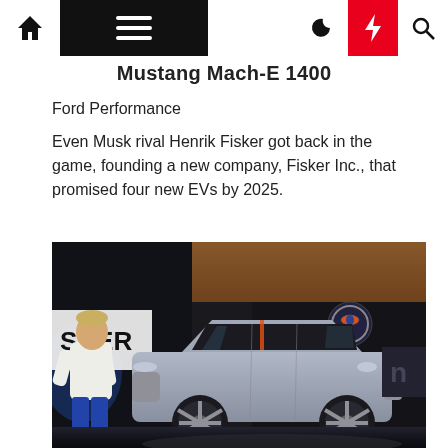Navigation bar with home, menu, moon, bolt (active), search icons
Mustang Mach-E 1400
Ford Performance
Even Musk rival Henrik Fisker got back in the game, founding a new company, Fisker Inc., that promised four new EVs by 2025.
[Figure (photo): Henrik Fisker standing next to a silver Fisker Ocean electric SUV concept car at an unveiling event. A 'SKER' (Fisker) branded banner is visible on the left, and a Fisker logo circular badge is on the dark wall in the background.]